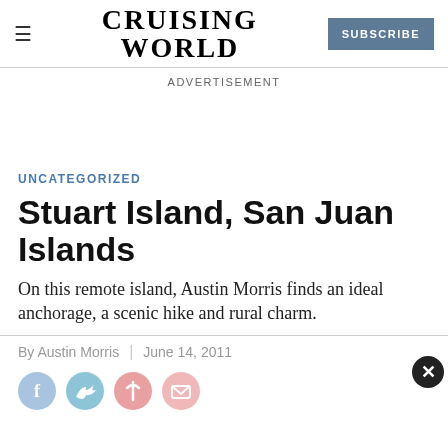CRUISING WORLD
ADVERTISEMENT
UNCATEGORIZED
Stuart Island, San Juan Islands
On this remote island, Austin Morris finds an ideal anchorage, a scenic hike and rural charm.
By Austin Morris | June 14, 2011